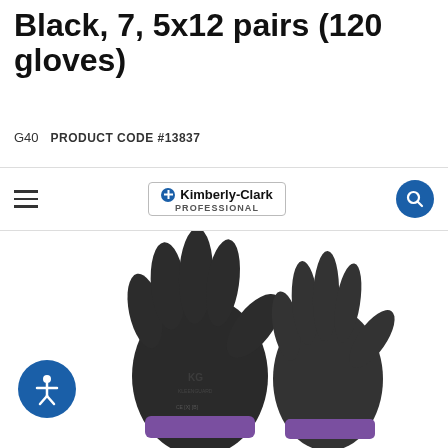Black, 7, 5x12 pairs (120 gloves)
G40    PRODUCT CODE #13837
[Figure (logo): Kimberly-Clark Professional logo inside a bordered box with a blue cross icon and 'PROFESSIONAL' text below]
[Figure (photo): Two black KleenGuard G40 polyurethane coated work gloves against white background, one showing palm side and one showing back, with purple cuff trim visible on one glove]